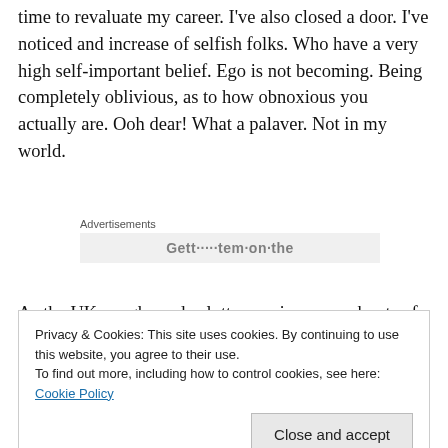time to revaluate my career. I've also closed a door. I've noticed and increase of selfish folks. Who have a very high self-important belief. Ego is not becoming. Being completely oblivious, as to how obnoxious you actually are. Ooh dear! What a palaver. Not in my world.
Advertisements
As the UK coughs and splutters, enjoys more bouts of D and V in the cold and darkness. My world of potential and
Privacy & Cookies: This site uses cookies. By continuing to use this website, you agree to their use.
To find out more, including how to control cookies, see here: Cookie Policy
Close and accept